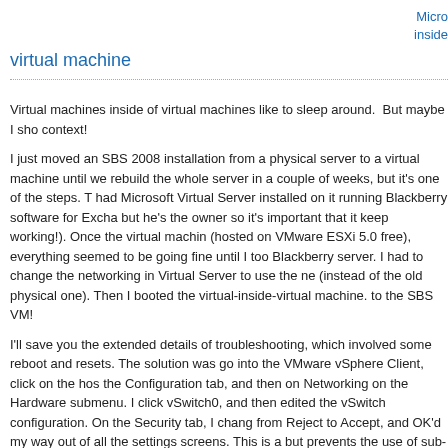Micro inside
virtual machine
Virtual machines inside of virtual machines like to sleep around.  But maybe I sho context!
I just moved an SBS 2008 installation from a physical server to a virtual machine until we rebuild the whole server in a couple of weeks, but it's one of the steps. T had Microsoft Virtual Server installed on it running Blackberry software for Excha but he's the owner so it's important that it keep working!). Once the virtual machin (hosted on VMware ESXi 5.0 free), everything seemed to be going fine until I too Blackberry server. I had to change the networking in Virtual Server to use the ne (instead of the old physical one). Then I booted the virtual-inside-virtual machine. to the SBS VM!
I'll save you the extended details of troubleshooting, which involved some reboot and resets. The solution was go into the VMware vSphere Client, click on the hos the Configuration tab, and then on Networking on the Hardware submenu. I click vSwitch0, and then edited the vSwitch configuration. On the Security tab, I chang from Reject to Accept, and OK'd my way out of all the settings screens. This is a but prevents the use of sub-virtualized machines that require promiscuous mode mentioned sleeping around?).